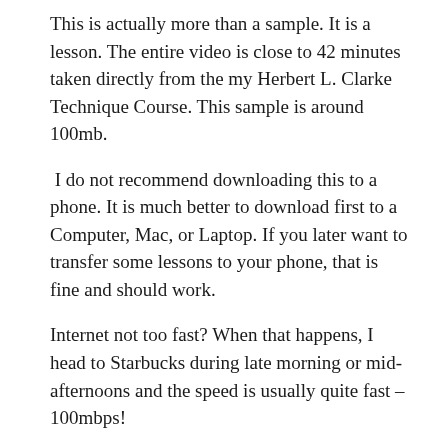This is actually more than a sample. It is a lesson. The entire video is close to 42 minutes taken directly from the my Herbert L. Clarke Technique Course. This sample is around 100mb.
I do not recommend downloading this to a phone. It is much better to download first to a Computer, Mac, or Laptop. If you later want to transfer some lessons to your phone, that is fine and should work.
Internet not too fast? When that happens, I head to Starbucks during late morning or mid-afternoons and the speed is usually quite fast – 100mbps!
lol last resort: McDonalds! Even if you are out in the boonies, you should be able to find a